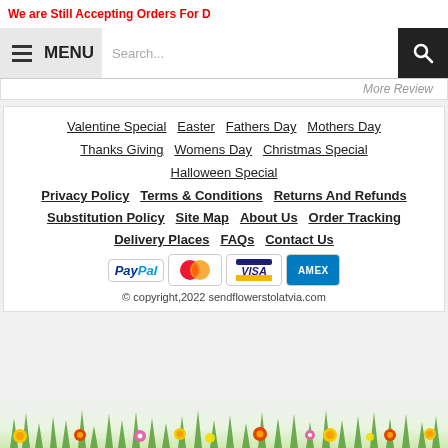We are Still Accepting Orders For D
MENU  Search...
More Review
Valentine Special  Easter  Fathers Day  Mothers Day
Thanks Giving  Womens Day  Christmas Special
Halloween Special
Privacy Policy  Terms & Conditions  Returns And Refunds
Substitution Policy  Site Map  About Us  Order Tracking
Delivery Places  FAQs  Contact Us
[Figure (logo): Payment logos: PayPal, MasterCard, Visa, AMEX]
© copyright,2022 sendflowerstolatvia.com
[Figure (illustration): Decorative flowers at bottom of page]